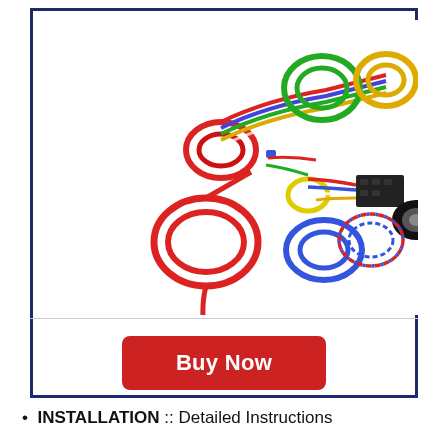[Figure (photo): Product photo of an automotive wiring harness kit showing multiple coils of colored wires (red, blue, green, yellow, white, striped) and a small black relay/fuse box and black electrical tape roll, arranged on a white background.]
Buy Now
INSTALLATION :: Detailed Instructions